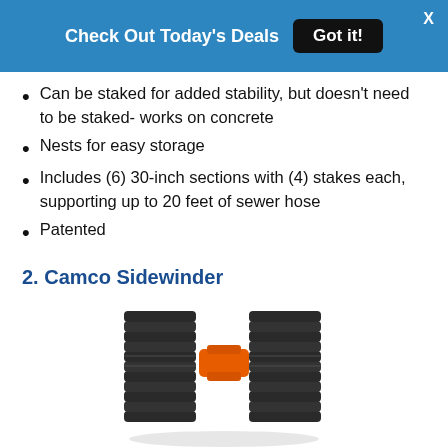Check Out Today's Deals  Got it!  X
Can be staked for added stability, but doesn't need to be staked- works on concrete
Nests for easy storage
Includes (6) 30-inch sections with (4) stakes each, supporting up to 20 feet of sewer hose
Patented
2. Camco Sidewinder
[Figure (photo): Photo of Camco Sidewinder sewer hose support, black accordion-style folded plastic support with orange clip/handle]